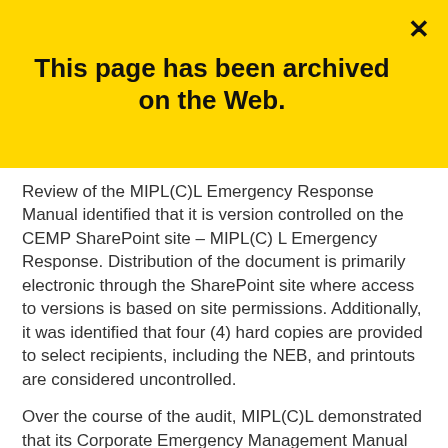This page has been archived on the Web.
Review of the MIPL(C)L Emergency Response Manual identified that it is version controlled on the CEMP SharePoint site – MIPL(C) L Emergency Response. Distribution of the document is primarily electronic through the SharePoint site where access to versions is based on site permissions. Additionally, it was identified that four (4) hard copies are provided to select recipients, including the NEB, and printouts are considered uncontrolled.
Over the course of the audit, MIPL(C)L demonstrated that its Corporate Emergency Management Manual was subject to review, revision and updating when changes were